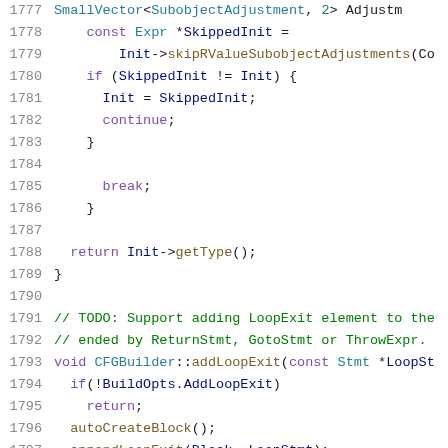Source code listing lines 1777-1798, C++ CFG builder code
1777: SmallVector<SubobjectAdjustment, 2> Adjustm
1778:     const Expr *SkippedInit =
1779:         Init->skipRValueSubobjectAdjustments(Co
1780:     if (SkippedInit != Init) {
1781:       Init = SkippedInit;
1782:       continue;
1783:     }
1784: (blank)
1785:       break;
1786:     }
1787: (blank)
1788:   return Init->getType();
1789: }
1790: (blank)
1791: // TODO: Support adding LoopExit element to the
1792: // ended by ReturnStmt, GotoStmt or ThrowExpr.
1793: void CFGBuilder::addLoopExit(const Stmt *LoopSt
1794:   if(!BuildOpts.AddLoopExit)
1795:     return;
1796:   autoCreateBlock();
1797:   appendLoopExit(Block, LoopStmt);
1798: }